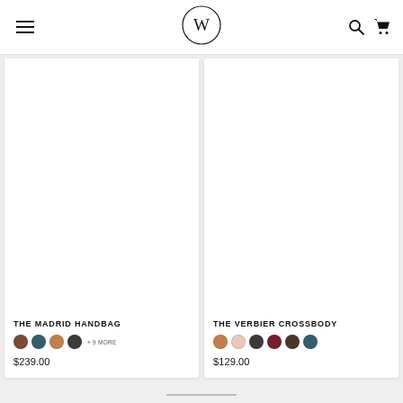[Figure (logo): W letter in circle logo for a retail brand, top center navigation bar with hamburger menu on left, search and cart icons on right]
THE MADRID HANDBAG
color swatches: brown, teal, tan/orange, dark charcoal, + 9 MORE
$239.00
THE VERBIER CROSSBODY
color swatches: tan/orange, blush/light, dark charcoal, burgundy, dark brown, teal
$129.00